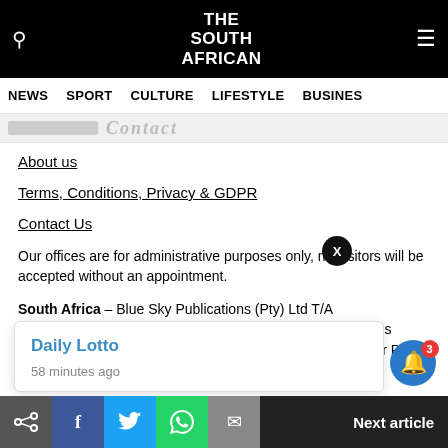THE SOUTH AFRICAN
NEWS   SPORT   CULTURE   LIFESTYLE   BUSINESS
[Figure (screenshot): Partially visible decorative text/image strip]
About us
Terms, Conditions, Privacy & GDPR
Contact Us
Our offices are for administrative purposes only, no visitors will be accepted without an appointment.
South Africa – Blue Sky Publications (Pty) Ltd T/A TheSouthAfrican Number: 2005/028472/07. Address: Regus Business Centre 1st Floor, Block B, North Park, Black River Park, 2 Fir Street, Observatory, Cape Town, 7925, South Africa
[Figure (screenshot): Notification popup showing 'Daily Lotto' with timestamp '58 minutes ago']
Next article